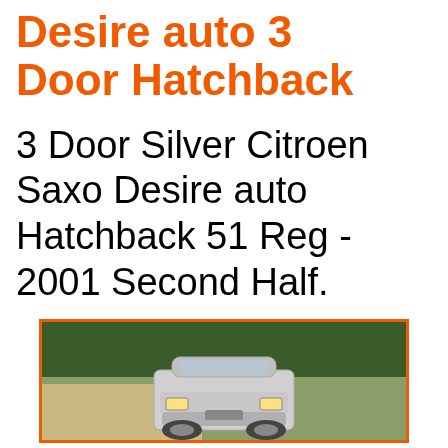Desire auto 3 Door Hatchback
3 Door Silver Citroen Saxo Desire auto Hatchback 51 Reg - 2001 Second Half.
[Figure (photo): Photograph of a silver Citroen Saxo hatchback car parked outdoors with trees and open ground in the background, framed with an orange border.]